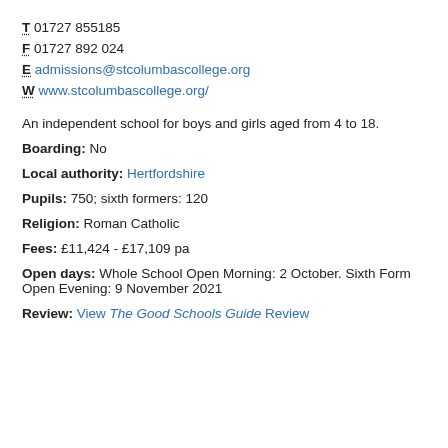T 01727 855185
F 01727 892 024
E admissions@stcolumbascollege.org
W www.stcolumbascollege.org/
An independent school for boys and girls aged from 4 to 18.
Boarding: No
Local authority: Hertfordshire
Pupils: 750; sixth formers: 120
Religion: Roman Catholic
Fees: £11,424 - £17,109 pa
Open days: Whole School Open Morning: 2 October. Sixth Form Open Evening: 9 November 2021
Review: View The Good Schools Guide Review